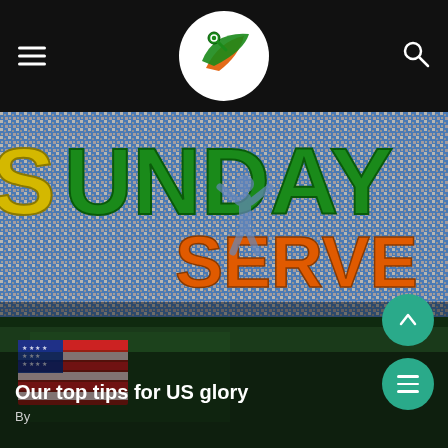[Figure (logo): Sports website logo with tennis/badminton player and swoosh in green and orange on white oval background, on black navigation bar]
[Figure (photo): Sports article hero image showing stadium crowd with large green 'SUNDAY' text overlay (S in yellow), orange 'SERVE' text overlay, and blue athlete silhouette. Bottom portion shows tennis court with American flag display.]
Our top tips for US glory
By